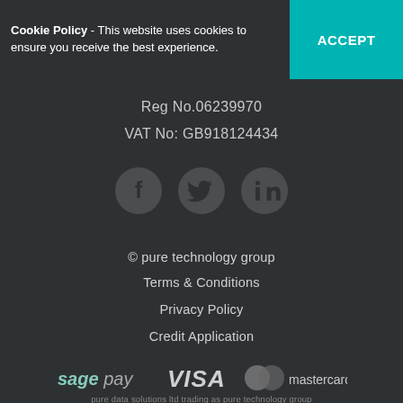Cookie Policy - This website uses cookies to ensure you receive the best experience.
ACCEPT
Reg No.06239970
VAT No: GB918124434
[Figure (illustration): Social media icons: Facebook, Twitter, LinkedIn]
© pure technology group
Terms & Conditions
Privacy Policy
Credit Application
[Figure (logo): Payment provider logos: Sage Pay, VISA, Mastercard]
pure data solutions ltd trading as pure technology group